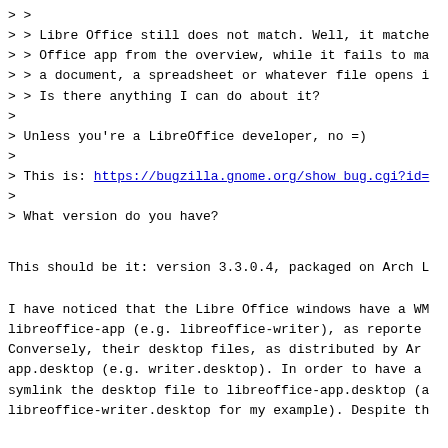> >
> > Libre Office still does not match. Well, it matche
> > Office app from the overview, while it fails to ma
> > a document, a spreadsheet or whatever file opens i
> > Is there anything I can do about it?
>
> Unless you're a LibreOffice developer, no =)
>
> This is: https://bugzilla.gnome.org/show_bug.cgi?id=
>
> What version do you have?
This should be it: version 3.3.0.4, packaged on Arch L
I have noticed that the Libre Office windows have a WM
libreoffice-app (e.g. libreoffice-writer), as reporte
Conversely, their desktop files, as distributed by Ar
app.desktop (e.g. writer.desktop). In order to have a
symlink the desktop file to libreoffice-app.desktop (a
libreoffice-writer.desktop for my example). Despite th